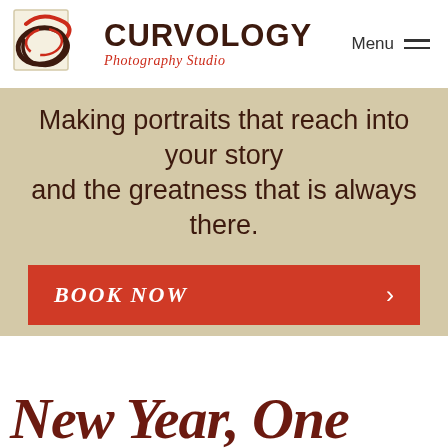[Figure (logo): Curvology Photography Studio logo with stylized overlapping curved oval shapes in dark brown and red, inside a light beige square frame]
CURVOLOGY Photography Studio
Menu
Making portraits that reach into your story and the greatness that is always there.
BOOK NOW →
New Year, One